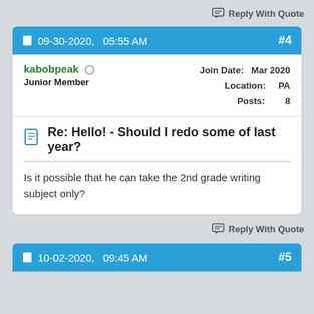Reply With Quote
#4  09-30-2020,  05:55 AM
kabobpeak  Junior Member  Join Date: Mar 2020  Location: PA  Posts: 8
Re: Hello! - Should I redo some of last year?
Is it possible that he can take the 2nd grade writing subject only?
Reply With Quote
#5  10-02-2020,  09:45 AM